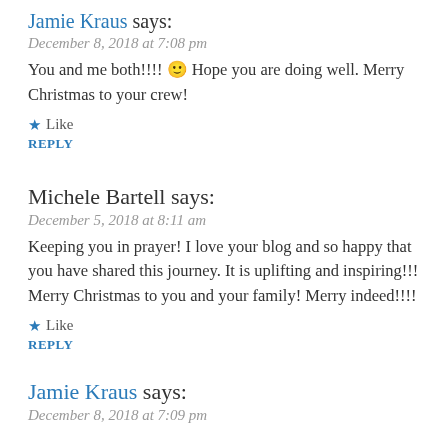Jamie Kraus says:
December 8, 2018 at 7:08 pm
You and me both!!!! 🙂 Hope you are doing well. Merry Christmas to your crew!
★ Like
REPLY
Michele Bartell says:
December 5, 2018 at 8:11 am
Keeping you in prayer! I love your blog and so happy that you have shared this journey. It is uplifting and inspiring!!! Merry Christmas to you and your family! Merry indeed!!!!
★ Like
REPLY
Jamie Kraus says:
December 8, 2018 at 7:09 pm